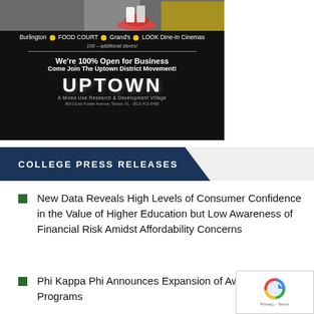[Figure (photo): Uptown District advertisement showing shoes at top, store names (Burlington, FOOD COURT, Grand's, LOOK Dine-In Cinemas), 100+ additional stores, We're 100% Open for Business / Come Join The Uptown District Movement!, and UPTOWN logo with Mixed-Use Research & Development Village tagline]
COLLEGE PRESS RELEASES
New Data Reveals High Levels of Consumer Confidence in the Value of Higher Education but Low Awareness of Financial Risk Amidst Affordability Concerns
Phi Kappa Phi Announces Expansion of Aw… Programs